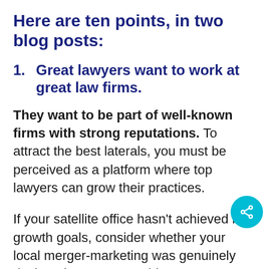Here are ten points, in two blog posts:
1.  Great lawyers want to work at great law firms.
They want to be part of well-known firms with strong reputations. To attract the best laterals, you must be perceived as a platform where top lawyers can grow their practices.
If your satellite office hasn't achieved its growth goals, consider whether your local merger-marketing was genuinely designed to ensure rapid